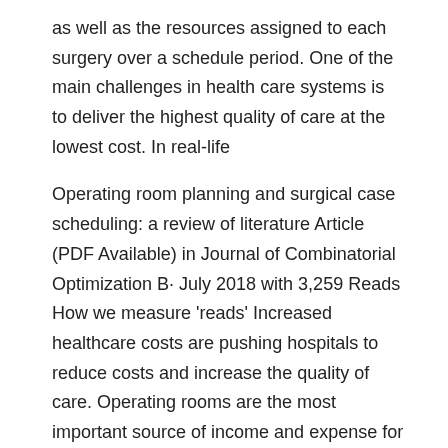as well as the resources assigned to each surgery over a schedule period. One of the main challenges in health care systems is to deliver the highest quality of care at the lowest cost. In real-life
Operating room planning and surgical case scheduling: a review of literature Article (PDF Available) in Journal of Combinatorial Optimization B· July 2018 with 3,259 Reads How we measure 'reads' Increased healthcare costs are pushing hospitals to reduce costs and increase the quality of care. Operating rooms are the most important source of income and expense for hospitals. Therefore, the hospital management focuses on the effectiveness of schedules and plans. This study includes analyses of recent research on operating room scheduling and planning. Most studies in the literature